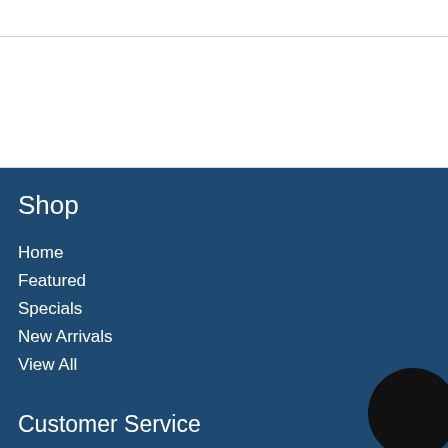Shop
Home
Featured
Specials
New Arrivals
View All
Customer Service